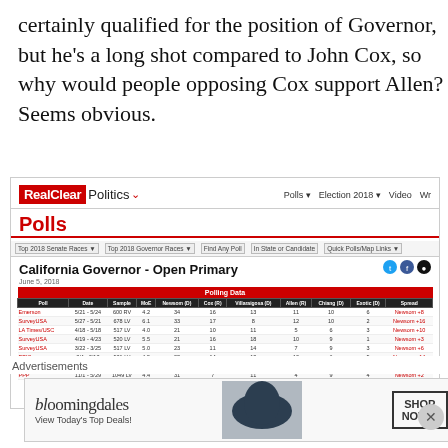certainly qualified for the position of Governor, but he's a long shot compared to John Cox, so why would people opposing Cox support Allen? Seems obvious.
[Figure (screenshot): Screenshot of RealClearPolitics website showing California Governor Open Primary polling data table with columns for Poll, Date, Sample, MoE, Newsom (D), Cox (R), Villaraigosa (D), Allen (R), Chiang (D), Exotic (D), Spread. Multiple survey rows shown including Emerson, SurveyUSA, LA Times/USC, PPic entries.]
Advertisements
[Figure (photo): Bloomingdales advertisement showing woman with hat, text: bloomingdales, View Today's Top Deals!, SHOP NOW >]